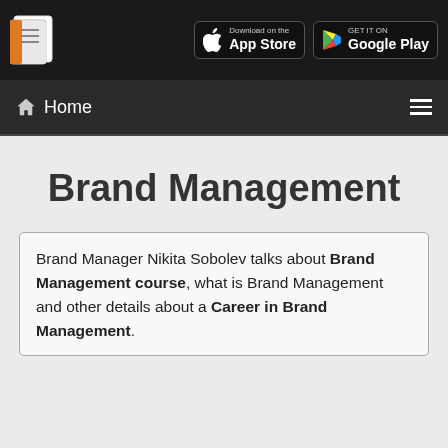[Figure (logo): Document/notes icon logo in white and orange on dark background, with App Store and Google Play download buttons]
Home
Brand Management
Brand Manager Nikita Sobolev talks about Brand Management course, what is Brand Management and other details about a Career in Brand Management.